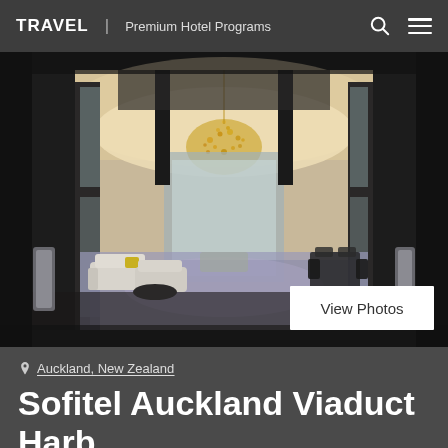TRAVEL | Premium Hotel Programs
[Figure (photo): Luxury hotel lobby interior with large chandelier, modern furniture, seating areas, patterned carpet, and floor-to-ceiling windows overlooking a waterfront area]
View Photos
Auckland, New Zealand
Sofitel Auckland Viaduct Harbour